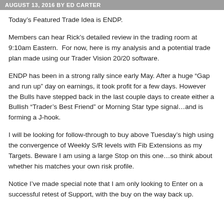AUGUST 13, 2016 BY ED CARTER
Today’s Featured Trade Idea is ENDP.
Members can hear Rick’s detailed review in the trading room at 9:10am Eastern.  For now, here is my analysis and a potential trade plan made using our Trader Vision 20/20 software.
ENDP has been in a strong rally since early May. After a huge “Gap and run up” day on earnings, it took profit for a few days. However the Bulls have stepped back in the last couple days to create either a Bullish “Trader’s Best Friend” or Morning Star type signal…and is forming a J-hook.
I will be looking for follow-through to buy above Tuesday’s high using the convergence of Weekly S/R levels with Fib Extensions as my Targets. Beware I am using a large Stop on this one…so think about whether his matches your own risk profile.
Notice I’ve made special note that I am only looking to Enter on a successful retest of Support, with the buy on the way back up.